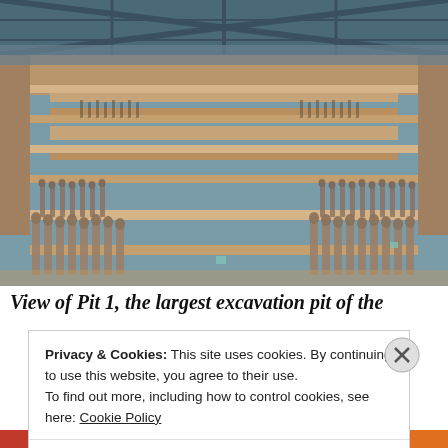[Figure (photo): Aerial view of Pit 1, the largest excavation pit of the Terracotta Army in Xi'an, China. Rows of terracotta warrior statues stand in parallel corridors under a large modern hangar roof structure. The warriors are visible in great numbers stretching back into the distance.]
View of Pit 1, the largest excavation pit of the
Privacy & Cookies: This site uses cookies. By continuing to use this website, you agree to their use.
To find out more, including how to control cookies, see here: Cookie Policy
Close and accept